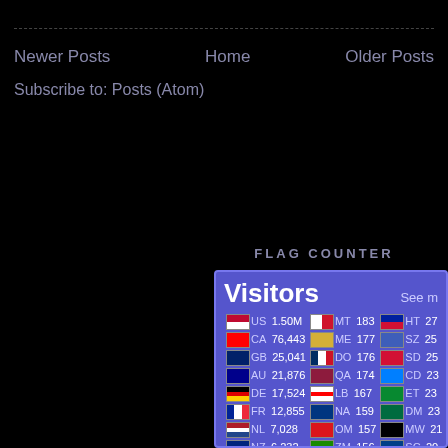Newer Posts | Home | Older Posts
Subscribe to: Posts (Atom)
FLAG COUNTER
[Figure (table-as-image): Flag Counter widget showing visitor counts by country. Visitors header with countries: US 1.50M, CA 76,443, GB 25,041, AU 21,876, DE 17,524, FR 12,855, NL 7,028, NZ 6,232, ZA 4,814, SE 4,196, BR 3,922, AT 3,075, PH 3,069, JP 2,902, BE 2,866, MT 183, ME 177, DO 176, QA 174, LB 167, NA 159, OM 157, ZM 156, ZW 147, BS 145, KH 136, LA 132, DZ 129, LK 129, MA 129, HT 27, SZ 25, SD 25, CD 23, ET 23, DM 23, MW 21, SC 20, FO 20, KN 20, GF 18, RW 17, SY 16, MO 16, LI 15]